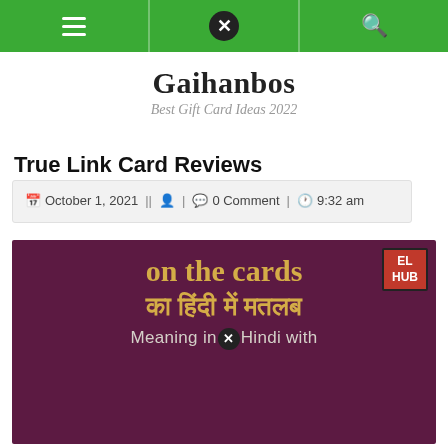Navigation bar with hamburger menu, close button, and search icon
Gaihanbos
Best Gift Card Ideas 2022
True Link Card Reviews
October 1, 2021 || [user icon] | [comment icon] 0 Comment | [clock icon] 9:32 am
[Figure (illustration): Dark purple/maroon banner image with golden text reading 'on the cards' and Hindi text 'का हिंदी में मतलब', and smaller text 'Meaning in Hindi with'. An 'EL HUB' red badge is in the top right corner.]